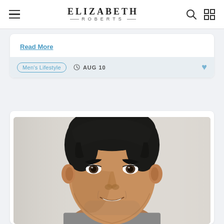ELIZABETH ROBERTS
Read More
Men's Lifestyle  AUG 10
[Figure (photo): Close-up portrait of a middle-aged man with dark slicked-back hair and thick eyebrows, smiling slightly, photographed against a light/white background]